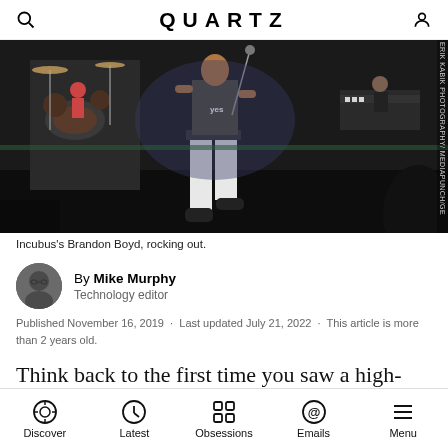QUARTZ
[Figure (photo): Concert photo of Incubus's Brandon Boyd performing on stage, rocking out with white pants and sneakers, with band members visible in background]
Incubus's Brandon Boyd, rocking out.
By Mike Murphy
Technology editor
Published November 16, 2019 · Last updated July 21, 2022 · This article is more than 2 years old.
Think back to the first time you saw a high-definition TV program.
Discover  Latest  Obsessions  Emails  Menu